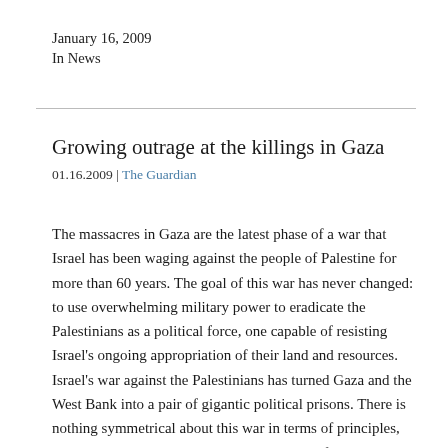January 16, 2009
In News
Growing outrage at the killings in Gaza
01.16.2009 | The Guardian
The massacres in Gaza are the latest phase of a war that Israel has been waging against the people of Palestine for more than 60 years. The goal of this war has never changed: to use overwhelming military power to eradicate the Palestinians as a political force, one capable of resisting Israel's ongoing appropriation of their land and resources. Israel's war against the Palestinians has turned Gaza and the West Bank into a pair of gigantic political prisons. There is nothing symmetrical about this war in terms of principles, tactics or consequences. Israel is responsible for launching and intensifying it, and for ending the most recent lull in hostilities.